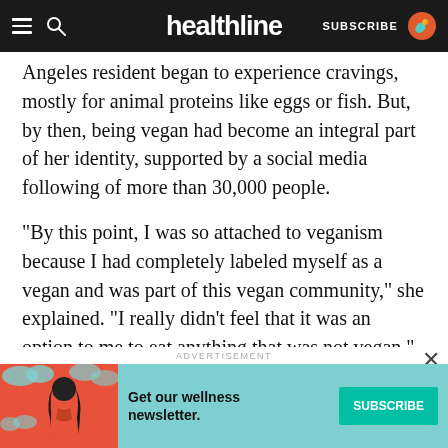healthline — SUBSCRIBE
Angeles resident began to experience cravings, mostly for animal proteins like eggs or fish. But, by then, being vegan had become an integral part of her identity, supported by a social media following of more than 30,000 people.
“By this point, I was so attached to veganism because I had completely labeled myself as a vegan and was part of this vegan community,” she explained. “I really didn’t feel that it was an option to me to eat anything that was not vegan.”
Despite the restricted diet, Jordan’s digestive troubles began to return.
ADVERTISEMENT
[Figure (infographic): Advertisement banner for Healthline wellness newsletter with teal background, illustrated woman with dark hair, and a Subscribe button]